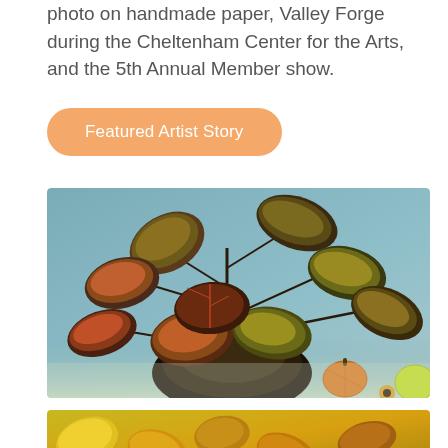photo on handmade paper, Valley Forge during the Cheltenham Center for the Arts, and the 5th Annual Member show.
Featured Artist Story
[Figure (photo): Photograph of red and green autumn leaves/begonia branches arranged in a bouquet against a teal/grey textured background, with small orange pumpkins and yellow flowers at the bottom right.]
[Figure (photo): Partial view of a second photograph showing yellow autumn leaves on a surface.]